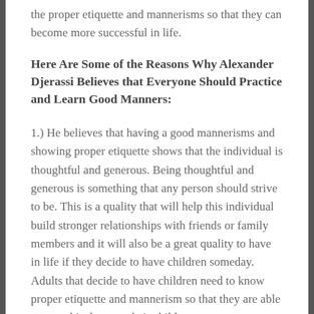the proper etiquette and mannerisms so that they can become more successful in life.
Here Are Some of the Reasons Why Alexander Djerassi Believes that Everyone Should Practice and Learn Good Manners:
1.) He believes that having a good mannerisms and showing proper etiquette shows that the individual is thoughtful and generous. Being thoughtful and generous is something that any person should strive to be. This is a quality that will help this individual build stronger relationships with friends or family members and it will also be a great quality to have in life if they decide to have children someday. Adults that decide to have children need to know proper etiquette and mannerism so that they are able to pass this down to their children.